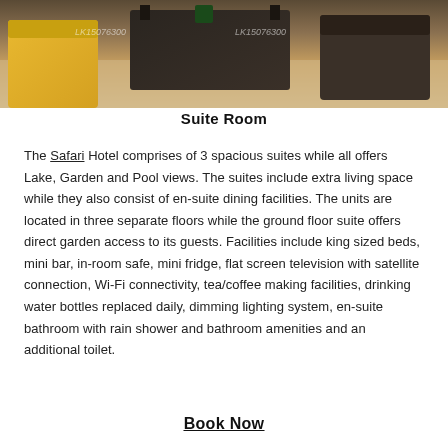[Figure (photo): Top-down view of a hotel suite room showing yellow sofa/chair and dark furniture, with watermarks LK15076300]
Suite Room
The Safari Hotel comprises of 3 spacious suites while all offers Lake, Garden and Pool views. The suites include extra living space while they also consist of en-suite dining facilities. The units are located in three separate floors while the ground floor suite offers direct garden access to its guests. Facilities include king sized beds, mini bar, in-room safe, mini fridge, flat screen television with satellite connection, Wi-Fi connectivity, tea/coffee making facilities, drinking water bottles replaced daily, dimming lighting system, en-suite bathroom with rain shower and bathroom amenities and an additional toilet.
Book Now